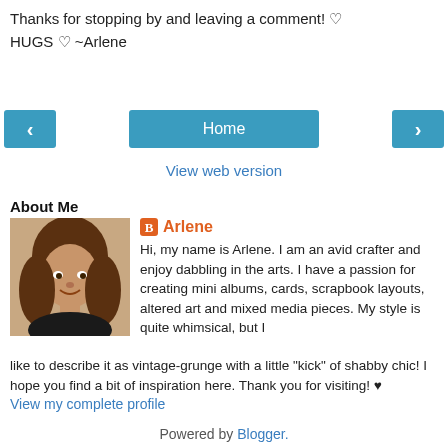Thanks for stopping by and leaving a comment! ♡
HUGS ♡ ~Arlene
[Figure (screenshot): Navigation bar with back arrow button (blue), Home button (blue), and forward arrow button (blue)]
View web version
About Me
[Figure (photo): Profile photo of Arlene, a woman with long brown hair, smiling]
Arlene
Hi, my name is Arlene. I am an avid crafter and enjoy dabbling in the arts. I have a passion for creating mini albums, cards, scrapbook layouts, altered art and mixed media pieces. My style is quite whimsical, but I like to describe it as vintage-grunge with a little "kick" of shabby chic! I hope you find a bit of inspiration here. Thank you for visiting! ♥
View my complete profile
Powered by Blogger.